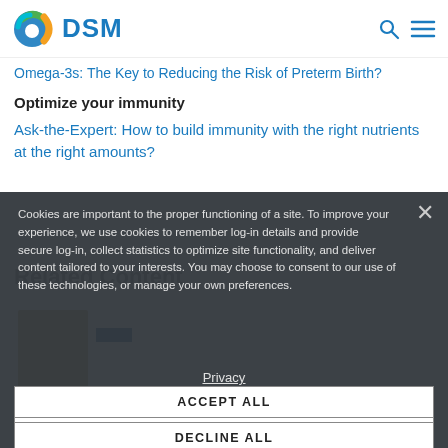DSM
Omega-3s: The Key to Reducing the Risk of Preterm Birth?
Optimize your immunity
Ask-the-Expert: How to build immunity with the right nutrients at the right amounts?
Related Content
Cookies are important to the proper functioning of a site. To improve your experience, we use cookies to remember log-in details and provide secure log-in, collect statistics to optimize site functionality, and deliver content tailored to your interests. You may choose to consent to our use of these technologies, or manage your own preferences.
Privacy
ACCEPT ALL
DECLINE ALL
MANAGE SETTINGS